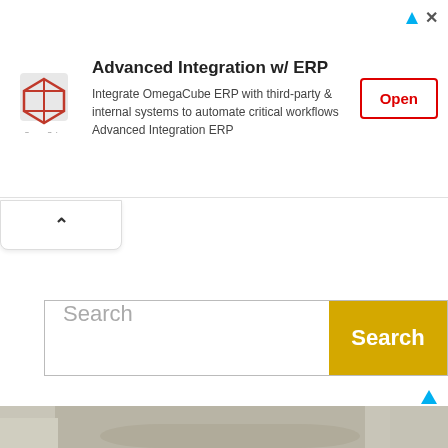[Figure (screenshot): Advertisement banner for OmegaCube ERP with logo, title 'Advanced Integration w/ ERP', body text, and Open button]
[Figure (screenshot): Collapse/chevron-up tab below the ad banner]
[Figure (screenshot): Search bar with placeholder 'Search' and yellow Search button]
[Figure (photo): Photo of a large industrial printing or document processing machine in an office/workshop environment, with bookshelves, fire extinguisher, and cables visible]